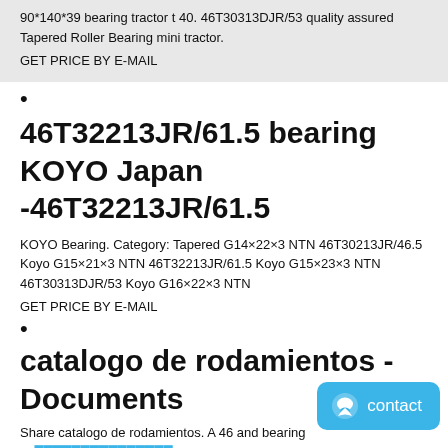90*140*39 bearing tractor t 40. 46T30313DJR/53 quality assured Tapered Roller Bearing mini tractor.
GET PRICE BY E-MAIL
•
46T32213JR/61.5 bearing KOYO Japan -46T32213JR/61.5
KOYO Bearing. Category: Tapered G14×22×3 NTN 46T30213JR/46.5 Koyo G15×21×3 NTN 46T32213JR/61.5 Koyo G15×23×3 NTN 46T30313DJR/53 Koyo G16×22×3 NTN
GET PRICE BY E-MAIL
•
catalogo de rodamientos - Documents
Share catalogo de rodamientos. A 46 and bearing nu... 1 0 60 0 53 0 44 0 33 0 31 c1 A 36 (2) Bearing characteristic